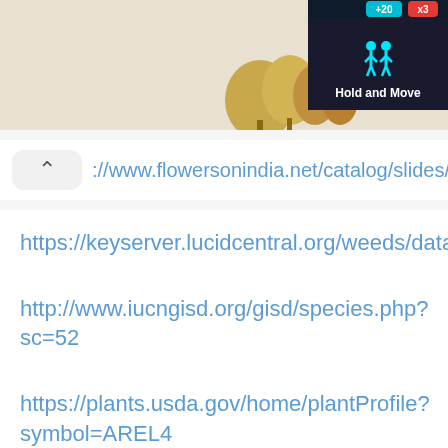[Figure (screenshot): Top portion of a mobile device screenshot showing trees/nature image and a dark 'Hold and Move' game UI panel with score indicators (+20, x3) and a person icon]
://www.flowersonindia.net/catalog/slides/Shoe
https://keyserver.lucidcentral.org/weeds/data/mec
http://www.iucngisd.org/gisd/species.php?sc=52
https://plants.usda.gov/home/plantProfile?symbol=AREL4